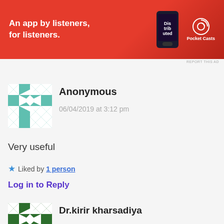[Figure (screenshot): Pocket Casts advertisement banner: red background, text 'An app by listeners, for listeners.' with phone image and Pocket Casts logo]
REPORT THIS AD
[Figure (illustration): Teal/white quilt-pattern avatar for Anonymous commenter]
Anonymous
06/04/2019 at 3:12 pm
Very useful
★ Liked by 1 person
Log in to Reply
[Figure (illustration): Dark green/white quilt-pattern avatar for Dr.kirir kharsadiya commenter]
Dr.kirir kharsadiya
06/04/2019 at 3:13 pm